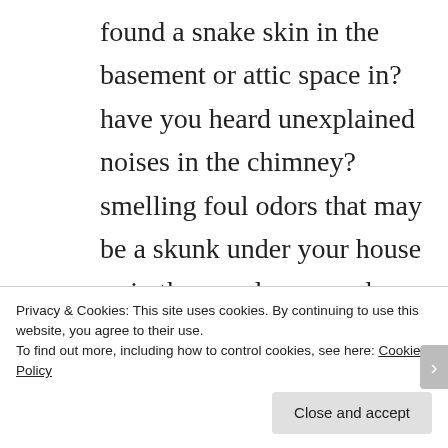found a snake skin in the basement or attic space in? have you heard unexplained noises in the chimney? smelling foul odors that may be a skunk under your house or in the crawlspace and heating ducts? Do you need bat removal from your Austin, Texas home? Do you need bat control in Austin, Texas ? do you have
Privacy & Cookies: This site uses cookies. By continuing to use this website, you agree to their use.
To find out more, including how to control cookies, see here: Cookie Policy
Close and accept